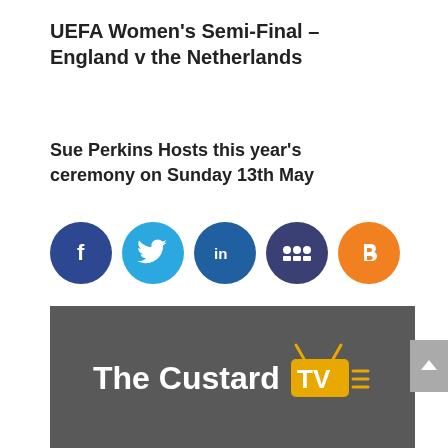UEFA Women's Semi-Final – England v the Netherlands
Sue Perkins Hosts this year's ceremony on Sunday 13th May
[Figure (infographic): Five social media icon circles: Facebook (dark blue), Twitter (light blue), LinkedIn (blue), Myspace (dark blue/purple), Blogger (orange)]
[Figure (logo): The Custard TV logo on a dark grey background. White bold text 'The Custard' followed by 'TV' in a yellow/orange box with antenna graphic and signal lines.]